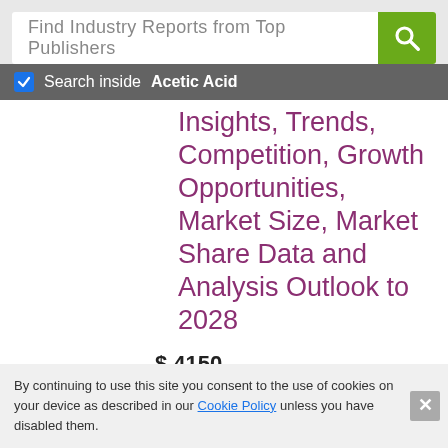Find Industry Reports from Top Publishers
Search inside Acetic Acid
Insights, Trends, Competition, Growth Opportunities, Market Size, Market Share Data and Analysis Outlook to 2028
$ 4150
135 pages • By OGAnalysis • Nov 2021
Ethylene Acrylic Acid Copolymers Market
By continuing to use this site you consent to the use of cookies on your device as described in our Cookie Policy unless you have disabled them.